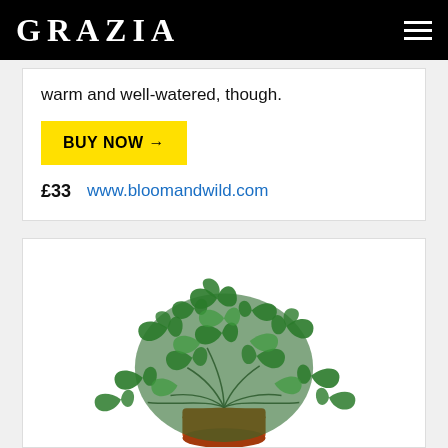GRAZIA
warm and well-watered, though.
BUY NOW →
£33   www.bloomandwild.com
[Figure (photo): A green ivy plant in a terracotta pot on a white background, with trailing and bushy ivy leaves.]